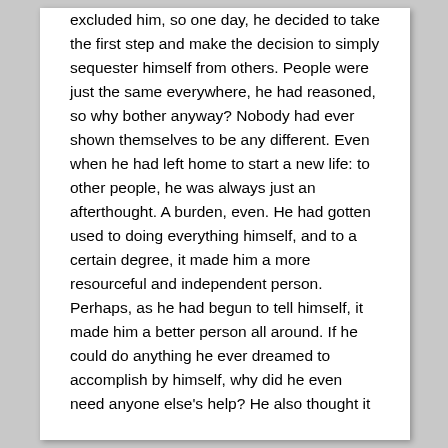excluded him, so one day, he decided to take the first step and make the decision to simply sequester himself from others. People were just the same everywhere, he had reasoned, so why bother anyway? Nobody had ever shown themselves to be any different. Even when he had left home to start a new life: to other people, he was always just an afterthought. A burden, even. He had gotten used to doing everything himself, and to a certain degree, it made him a more resourceful and independent person. Perhaps, as he had begun to tell himself, it made him a better person all around. If he could do anything he ever dreamed to accomplish by himself, why did he even need anyone else's help? He also thought it